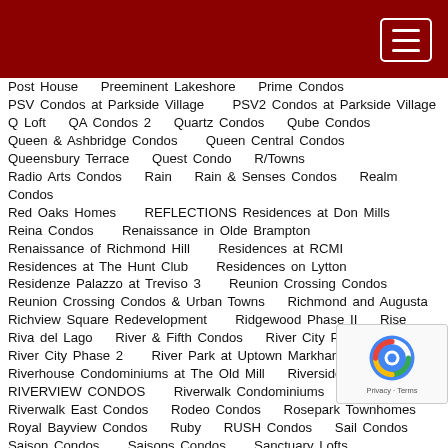Navigation header bar with menu button
Post House   Preeminent Lakeshore   Prime Condos
PSV Condos at Parkside Village   PSV2 Condos at Parkside Village
Q Loft   QA Condos 2   Quartz Condos   Qube Condos
Queen & Ashbridge Condos   Queen Central Condos
Queensbury Terrace   Quest Condo   R/Towns
Radio Arts Condos   Rain   Rain & Senses Condos   Realm Condos
Red Oaks Homes   REFLECTIONS Residences at Don Mills
Reina Condos   Renaissance in Olde Brampton
Renaissance of Richmond Hill   Residences at RCMI
Residences at The Hunt Club   Residences on Lytton
Residenze Palazzo at Treviso 3   Reunion Crossing Condos
Reunion Crossing Condos & Urban Towns   Richmond and Augusta
Richview Square Redevelopment   Ridgewood Phase II   Rise
Riva del Lago   River & Fifth Condos   River City Phase 1
River City Phase 2   River Park at Uptown Markham
Riverhouse Condominiums at The Old Mill   Riverside Towns
RIVERVIEW CONDOS   Riverwalk Condominiums
Riverwalk East Condos   Rodeo Condos   Rosepark Townhomes
Royal Bayview Condos   Ruby   RUSH Condos   Sail Condos
Saison Condos   Saisons Condos   Sanctuary Lofts
Saturday in Downsview Park   Savile On The Roe Towns   Savvy
Savvy Condominiums at Cosmo   Scala Condos
Seasons Fairisle Towns 2   Seasons Fairisle Towns 3